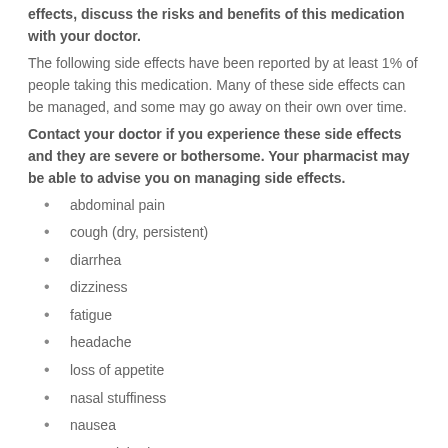effects, discuss the risks and benefits of this medication with your doctor.
The following side effects have been reported by at least 1% of people taking this medication. Many of these side effects can be managed, and some may go away on their own over time.
Contact your doctor if you experience these side effects and they are severe or bothersome. Your pharmacist may be able to advise you on managing side effects.
abdominal pain
cough (dry, persistent)
diarrhea
dizziness
fatigue
headache
loss of appetite
nasal stuffiness
nausea
unusual tiredness